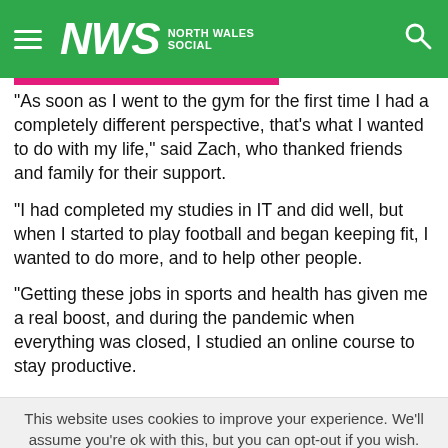NWS North Wales Social
“As soon as I went to the gym for the first time I had a completely different perspective, that’s what I wanted to do with my life,” said Zach, who thanked friends and family for their support.
“I had completed my studies in IT and did well, but when I started to play football and began keeping fit, I wanted to do more, and to help other people.
“Getting these jobs in sports and health has given me a real boost, and during the pandemic when everything was closed, I studied an online course to stay productive.
This website uses cookies to improve your experience. We’ll assume you’re ok with this, but you can opt-out if you wish.
Cookie settings   ACCEPT